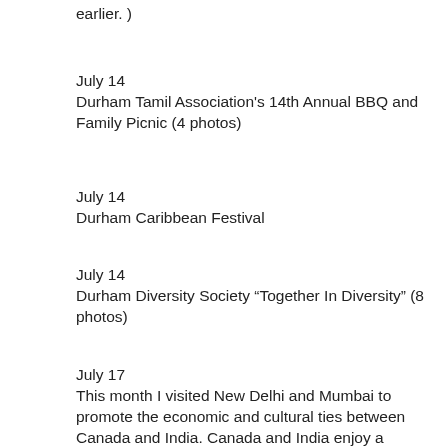earlier. )
July 14
Durham Tamil Association's 14th Annual BBQ and Family Picnic (4 photos)
July 14
Durham Caribbean Festival
July 14
Durham Diversity Society “Together In Diversity” (8 photos)
July 17
This month I visited New Delhi and Mumbai to promote the economic and cultural ties between Canada and India. Canada and India enjoy a strong bilateral relationship that is based on shared democratic values and mutual economic interests. (11 photos) Canada’s Citizenship and Immigration Minister Chris Alexander